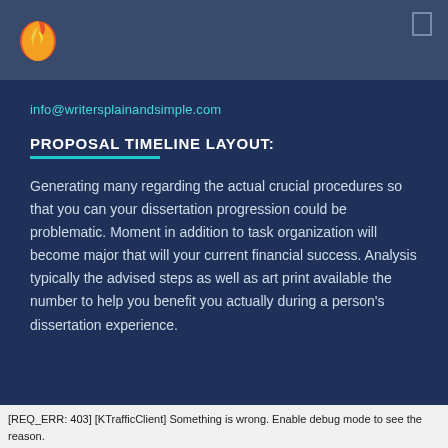[Figure (logo): Firefox-style flame logo icon in orange and yellow]
info@writersplainandsimple.com
PROPOSAL TIMELINE LAYOUT:
Generating many regarding the actual crucial procedures so that you can your dissertation progression could be problematic. Moment in addition to task organization will become major that will your current financial success. Analysis typically the advised steps as well as art print available the number to help you benefit you actually during a person's dissertation experience.
[REQ_ERR: 403] [KTrafficClient] Something is wrong. Enable debug mode to see the reason.